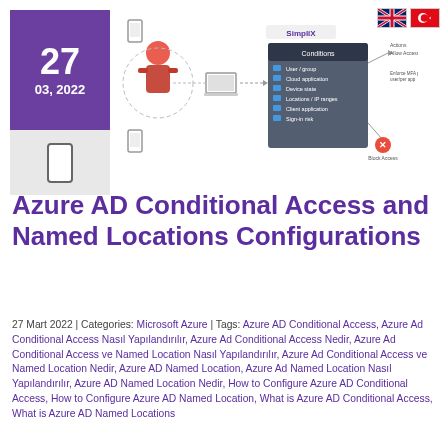[Figure (infographic): Azure AD Conditional Access diagram showing user, device, cloud application conditions leading to Allow Access or Block Access, with SimpliX logo. Date badge showing 27, 03, 2022 in purple. UK and Turkish flag icons top right.]
Azure AD Conditional Access and Named Locations Configurations
27 Mart 2022 | Categories: Microsoft Azure | Tags: Azure AD Conditional Access, Azure Ad Conditional Access Nasıl Yapılandırılır, Azure Ad Conditional Access Nedir, Azure Ad Conditional Access ve Named Location Nasıl Yapılandırılır, Azure Ad Conditional Access ve Named Location Nedir, Azure AD Named Location, Azure Ad Named Location Nasıl Yapılandırılır, Azure AD Named Location Nedir, How to Configure Azure AD Conditional Access, How to Configure Azure AD Named Location, What is Azure AD Conditional Access, What is Azure AD Named Locations